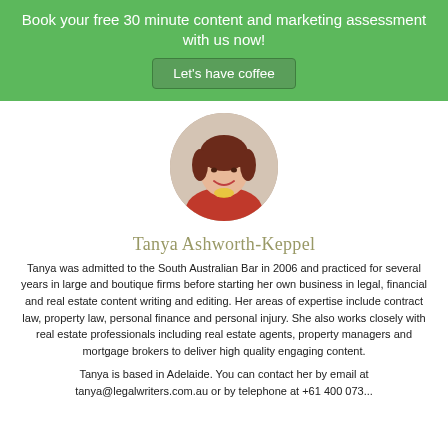Book your free 30 minute content and marketing assessment with us now!
Let's have coffee
[Figure (photo): Circular profile photo of Tanya Ashworth-Keppel, a woman with short red-brown hair wearing a red top and yellow necklace, against a light background.]
Tanya Ashworth-Keppel
Tanya was admitted to the South Australian Bar in 2006 and practiced for several years in large and boutique firms before starting her own business in legal, financial and real estate content writing and editing. Her areas of expertise include contract law, property law, personal finance and personal injury. She also works closely with real estate professionals including real estate agents, property managers and mortgage brokers to deliver high quality engaging content.
Tanya is based in Adelaide. You can contact her by email at tanya@legalwriters.com.au or by telephone at +61 400 073...